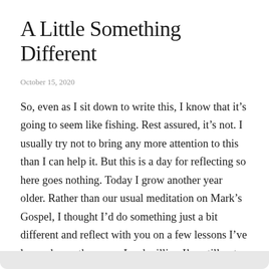A Little Something Different
October 15, 2020
So, even as I sit down to write this, I know that it’s going to seem like fishing. Rest assured, it’s not. I usually try not to bring any more attention to this than I can help it. But this is a day for reflecting so here goes nothing. Today I grow another year older. Rather than our usual meditation on Mark’s Gospel, I thought I’d do something just a bit different and reflect with you on a few lessons I’ve learned over the years. Lord willing I’ve still got many yet to go, but here are a few things I’ve learned so far.